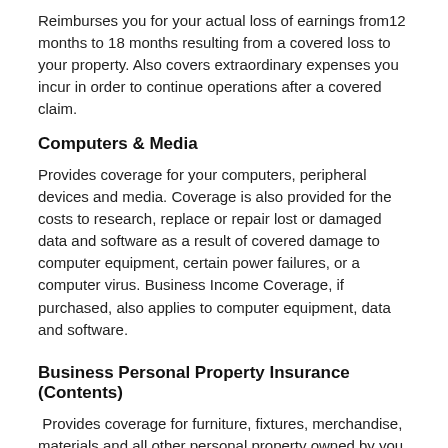Reimburses you for your actual loss of earnings from12 months to 18 months resulting from a covered loss to your property. Also covers extraordinary expenses you incur in order to continue operations after a covered claim.
Computers & Media
Provides coverage for your computers, peripheral devices and media. Coverage is also provided for the costs to research, replace or repair lost or damaged data and software as a result of covered damage to computer equipment, certain power failures, or a computer virus. Business Income Coverage, if purchased, also applies to computer equipment, data and software.
Business Personal Property Insurance (Contents)
Provides coverage for furniture, fixtures, merchandise, materials and all other personal property owned by you and used in your business. Coverage is at replacement